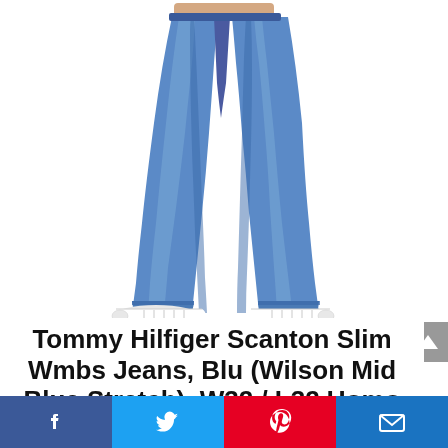[Figure (photo): Man wearing slim fit blue jeans (Tommy Hilfiger Scanton Slim Wmbs) with white Converse sneakers, shown from waist down on white background]
Tommy Hilfiger Scanton Slim Wmbs Jeans, Blu (Wilson Mid Blue Stretch), W32 / L32 Uomo
[Figure (other): Social share bar with Facebook, Twitter, Pinterest, and email buttons]